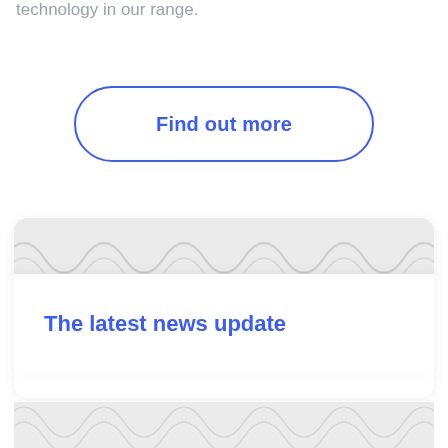technology in our range.
Find out more
[Figure (illustration): A wavy textured light gray decorative pattern forming a card section background]
The latest news update
[Figure (illustration): A wavy textured light gray decorative pattern at the bottom of the page]